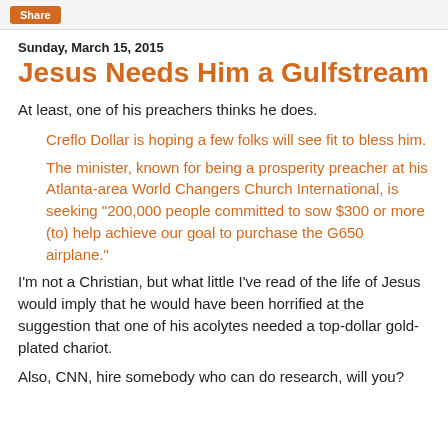[Figure (screenshot): Orange Share button in top bar]
Sunday, March 15, 2015
Jesus Needs Him a Gulfstream
At least, one of his preachers thinks he does.
Creflo Dollar is hoping a few folks will see fit to bless him.
The minister, known for being a prosperity preacher at his Atlanta-area World Changers Church International, is seeking "200,000 people committed to sow $300 or more (to) help achieve our goal to purchase the G650 airplane."
I'm not a Christian, but what little I've read of the life of Jesus would imply that he would have been horrified at the suggestion that one of his acolytes needed a top-dollar gold-plated chariot.
Also, CNN, hire somebody who can do research, will you?